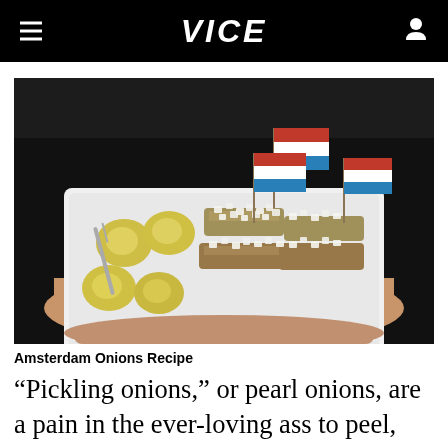VICE
[Figure (photo): A hand holding a white styrofoam tray containing herring fish pieces topped with chopped white onions, alongside yellow pickled pearl onions/uitjes, with small Dutch flags (red, white, blue tricolor) on toothpicks stuck into the fish. Dark background.]
Amsterdam Onions Recipe
“Pickling onions,” or pearl onions, are a pain in the ever-loving ass to peel, but once you make one batch of these little guys, you’re going to